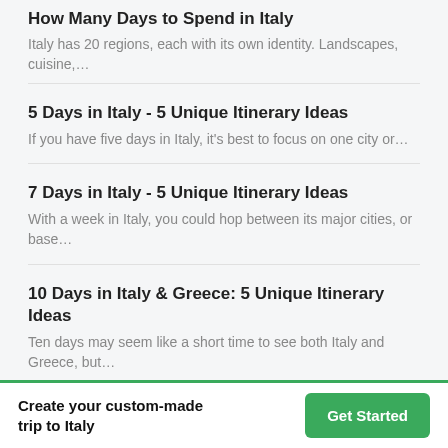How Many Days to Spend in Italy
Italy has 20 regions, each with its own identity. Landscapes, cuisine,…
5 Days in Italy - 5 Unique Itinerary Ideas
If you have five days in Italy, it's best to focus on one city or…
7 Days in Italy - 5 Unique Itinerary Ideas
With a week in Italy, you could hop between its major cities, or base…
10 Days in Italy & Greece: 5 Unique Itinerary Ideas
Ten days may seem like a short time to see both Italy and Greece, but…
Two Weeks in Italy & Greece - 5 Unique Itineraries
Two weeks in Italy and Greece is enough time to get a feel for
Create your custom-made trip to Italy